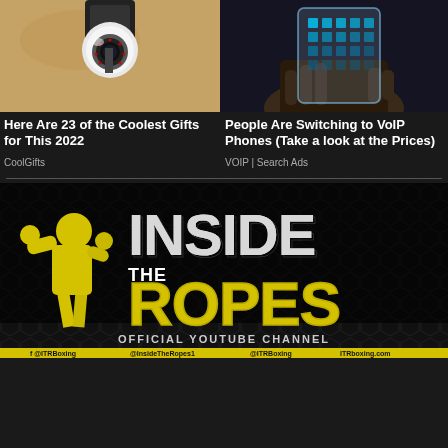[Figure (photo): Security camera mounted on a wall with eye design]
[Figure (photo): Hand holding a transparent smartphone with icons]
Here Are 23 of the Coolest Gifts for This 2022
CoolGifts
People Are Switching to VoIP Phones (Take a look at the Prices)
VOIP | Search Ads
[Figure (logo): Inside The Ropes Official YouTube Channel banner with boxer silhouette, social media handles: @ITRBoxing, @InsideTheRopes1, @ITRBoxing, ITRboxing.com]